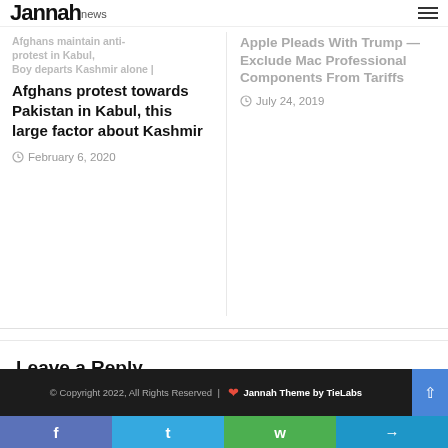Jannah news
Afghans maintain anti-protest in Kabul, Boy departs Kashmir alone |
Afghans protest towards Pakistan in Kabul, this large factor about Kashmir
February 6, 2020
Apple Pleads With Trump — Exclude Mac Professional Components From Tariffs
July 24, 2019
Leave a Reply
You must be logged in to post a comment.
© Copyright 2022, All Rights Reserved | ❤ Jannah Theme by TieLabs